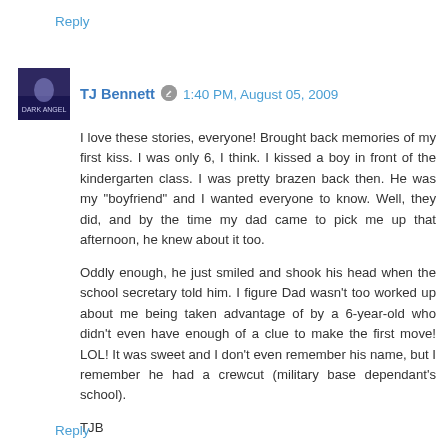Reply
TJ Bennett  1:40 PM, August 05, 2009
I love these stories, everyone! Brought back memories of my first kiss. I was only 6, I think. I kissed a boy in front of the kindergarten class. I was pretty brazen back then. He was my "boyfriend" and I wanted everyone to know. Well, they did, and by the time my dad came to pick me up that afternoon, he knew about it too.
Oddly enough, he just smiled and shook his head when the school secretary told him. I figure Dad wasn't too worked up about me being taken advantage of by a 6-year-old who didn't even have enough of a clue to make the first move! LOL! It was sweet and I don't even remember his name, but I remember he had a crewcut (military base dependant's school).
TJB
Reply